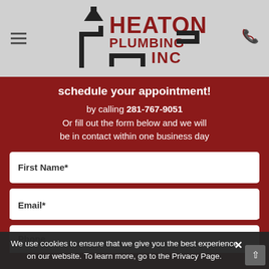[Figure (logo): Heaton Plumbing Inc logo with plumbing pipes graphic]
schedule your appointment!
by calling 281-767-9051
Or fill out the form below and we will be in contact within one business day
First Name*
Last Name
Phone
Email*
We use cookies to ensure that we give you the best experience on our website. To learn more, go to the Privacy Page.